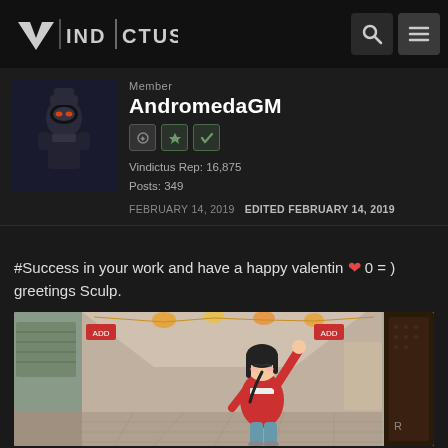VINDICTUS
Member
AndromedaGM
Vindictus Rep: 16,875
Posts: 349
FEBRUARY 14, 2019   EDITED FEBRUARY 14, 2019
#Success in your work and have a happy valentin ❤ 0 = ) greetings Sculp.
[Figure (illustration): Anime-style illustration of a girl in a red hoodie with arms raised, standing in a shopping arcade/alleyway with colorful banners]